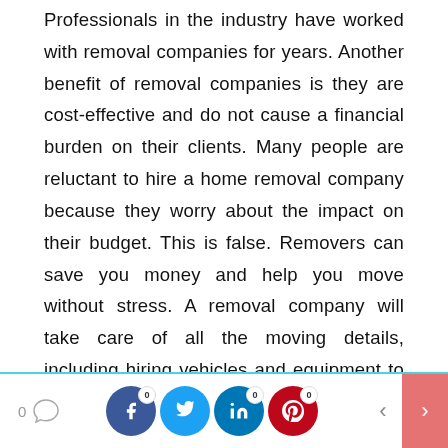Professionals in the industry have worked with removal companies for years. Another benefit of removal companies is they are cost-effective and do not cause a financial burden on their clients. Many people are reluctant to hire a home removal company because they worry about the impact on their budget. This is false. Removers can save you money and help you move without stress. A removal company will take care of all the moving details, including hiring vehicles and equipment to move your cargo. To help clients, removal companies often employ skilled packers, movers, or vehicle operators. They know the best routes to get your goods to the correct place and will take you there in no time. You can visit a packer and mover's website to learn
0 [comment icon] | 0 [facebook] | 0 [twitter] | 0 [linkedin] | 0 [pinterest] | < | >